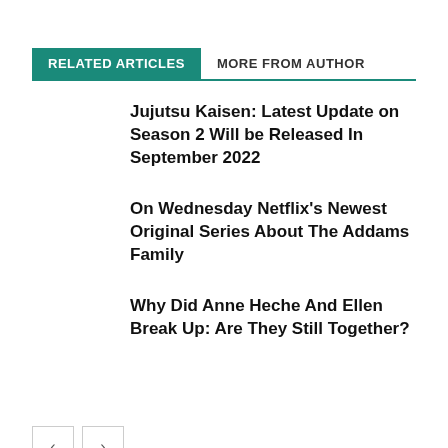RELATED ARTICLES
MORE FROM AUTHOR
Jujutsu Kaisen: Latest Update on Season 2 Will be Released In September 2022
On Wednesday Netflix’s Newest Original Series About The Addams Family
Why Did Anne Heche And Ellen Break Up: Are They Still Together?